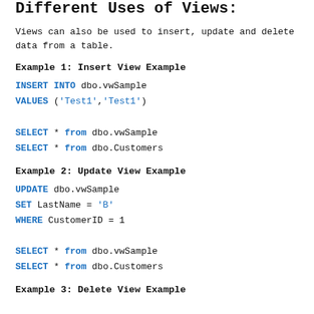Different Uses of Views:
Views can also be used to insert, update and delete data from a table.
Example 1: Insert View Example
Example 2: Update View Example
Example 3: Delete View Example